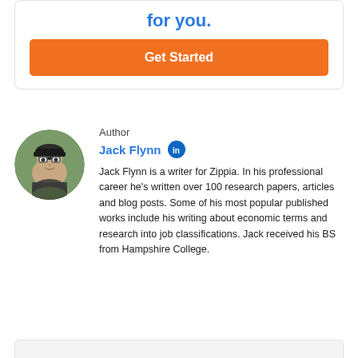for you.
Get Started
Author
Jack Flynn
Jack Flynn is a writer for Zippia. In his professional career he's written over 100 research papers, articles and blog posts. Some of his most popular published works include his writing about economic terms and research into job classifications. Jack received his BS from Hampshire College.